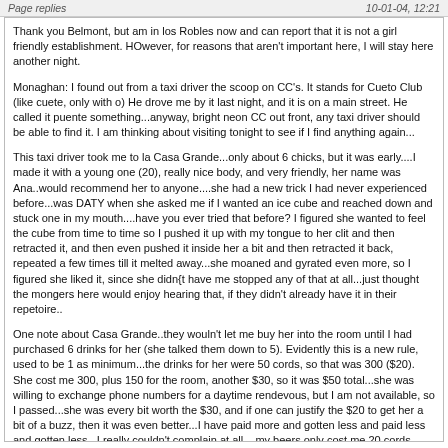Page replies   10-01-04, 12:21
Thank you Belmont, but am in los Robles now and can report that it is not a girl friendly establishment. HOwever, for reasons that aren't important here, I will stay here another night.
Monaghan: I found out from a taxi driver the scoop on CC's. It stands for Cueto Club (like cuete, only with o) He drove me by it last night, and it is on a main street. He called it puente something...anyway, bright neon CC out front, any taxi driver should be able to find it. I am thinking about visiting tonight to see if I find anything again...
This taxi driver took me to la Casa Grande...only about 6 chicks, but it was early....I made it with a young one (20), really nice body, and very friendly, her name was Ana..would recommend her to anyone....she had a new trick I had never experienced before...was DATY when she asked me if I wanted an ice cube and reached down and stuck one in my mouth....have you ever tried that before? I figured she wanted to feel the cube from time to time so I pushed it up with my tongue to her clit and then retracted it, and then even pushed it inside her a bit and then retracted it back, repeated a few times till it melted away...she moaned and gyrated even more, so I figured she liked it, since she didn{t have me stopped any of that at all...just thought the mongers here would enjoy hearing that, if they didn't already have it in their repetoire..
One note about Casa Grande..they wouln't let me buy her into the room until I had purchased 6 drinks for her (she talked them down to 5). Evidently this is a new rule, used to be 1 as minimum...the drinks for her were 50 cords, so that was 300 ($20). She cost me 300, plus 150 for the room, another $30, so it was $50 total...she was willing to exchange phone numbers for a daytime rendevous, but I am not available, so I passed...she was every bit worth the $30, and if one can justify the $20 to get her a bit of a buzz, then it was even better...I have paid more and gotten less and paid less and gotten less.. I really couldn't complain at all....my beers only cost me 20 cords ($1.33) each, so hell, I could have been someplace else and paid the equivalent in some higher drink prices for me...it all comes out...I slept like a baby...
all for now...VT